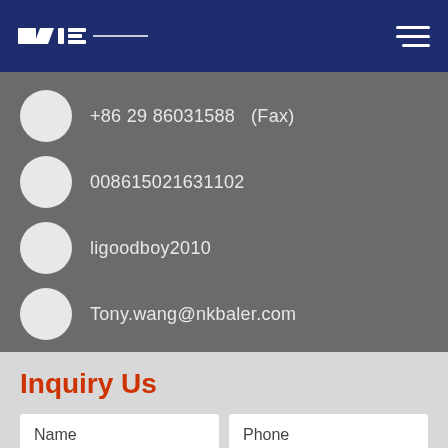NK Baler
+86 29 86031588   (Fax)
008615021631102
ligoodboy2010
Tony.wang@nkbaler.com
East Qunsheng Road Wuxi City,Jiangsu,China
Inquiry Us
Name
Phone